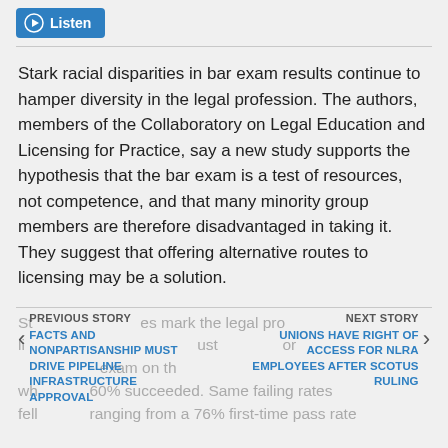[Figure (other): Blue Listen button with play icon]
Stark racial disparities in bar exam results continue to hamper diversity in the legal profession. The authors, members of the Collaboratory on Legal Education and Licensing for Practice, say a new study supports the hypothesis that the bar exam is a test of resources, not competence, and that many minority group members are therefore disadvantaged in taking it. They suggest that offering alternative routes to licensing may be a solution.
PREVIOUS STORY | FACTS AND NONPARTISANSHIP MUST DRIVE PIPELINE INFRASTRUCTURE APPROVAL | NEXT STORY | UNIONS HAVE RIGHT OF ACCESS FOR NLRA EMPLOYEES AFTER SCOTUS RULING